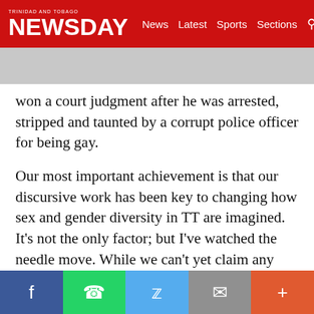TRINIDAD AND TOBAGO NEWSDAY — News Latest Sports Sections
won a court judgment after he was arrested, stripped and taunted by a corrupt police officer for being gay.
Our most important achievement is that our discursive work has been key to changing how sex and gender diversity in TT are imagined. It's not the only factor; but I've watched the needle move. While we can't yet claim any clear policy win for ourselves, we certainly did the critical cultural groundwork that made Justice Rampersad's judgment in the Jones case
Facebook  WhatsApp  Twitter  Email  More